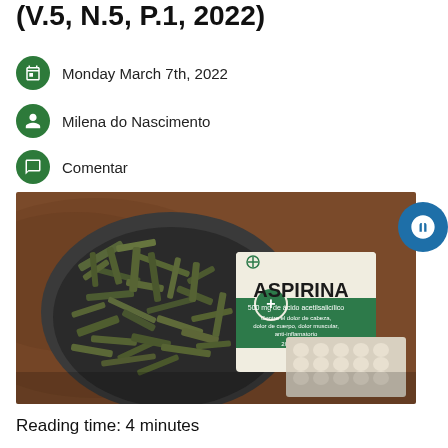(V.5, N.5, P.1, 2022)
Monday March 7th, 2022
Milena do Nascimento
Comentar
[Figure (photo): A bowl of dried herb strips next to an Aspirina (aspirin) box and blister pack of tablets on a wooden surface.]
Reading time: 4 minutes